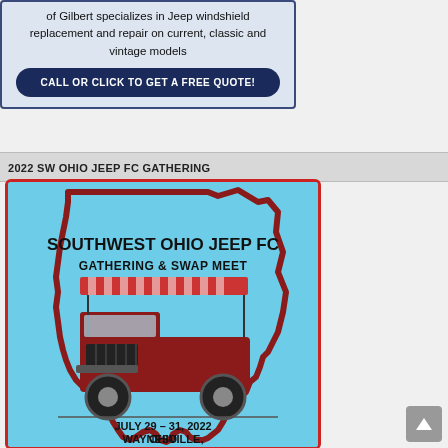of Gilbert specializes in Jeep windshield replacement and repair on current, classic and vintage models
CALL OR CLICK TO GET A FREE QUOTE!
2022 SW OHIO JEEP FC GATHERING
[Figure (illustration): Event poster for Southwest Ohio Jeep FC Gathering & Swap Meet, July 29-31, 2022, Waynesville, Ohio. Shows an outline of the state of Ohio in light blue with a dark red border, with a vintage red Jeep FC truck illustration inside, and text reading SOUTHWEST OHIO JEEP FC GATHERING & SWAP MEET, JULY 29 - 31, 2022, WAYNESVILLE, OHIO.]